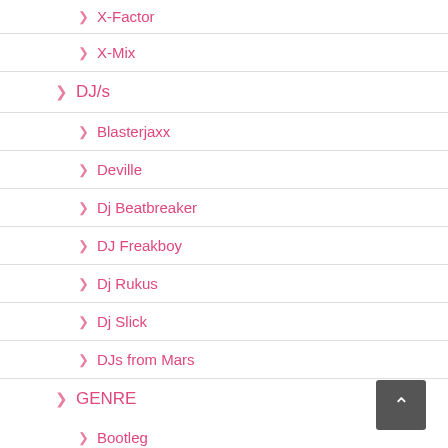X-Factor
X-Mix
DJ/s
Blasterjaxx
Deville
Dj Beatbreaker
DJ Freakboy
Dj Rukus
Dj Slick
DJs from Mars
GENRE
Bootleg